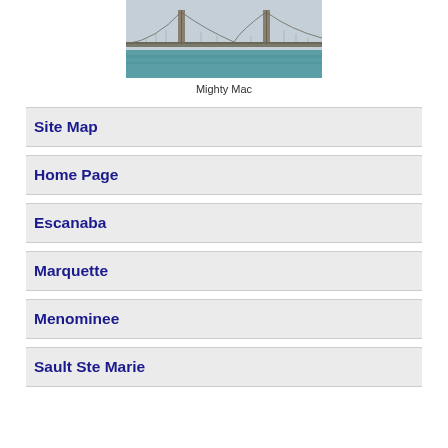[Figure (photo): Photo of the Mackinac Bridge (Mighty Mac) spanning water, with suspension cables and towers visible against a hazy sky.]
Mighty Mac
Site Map
Home Page
Escanaba
Marquette
Menominee
Sault Ste Marie